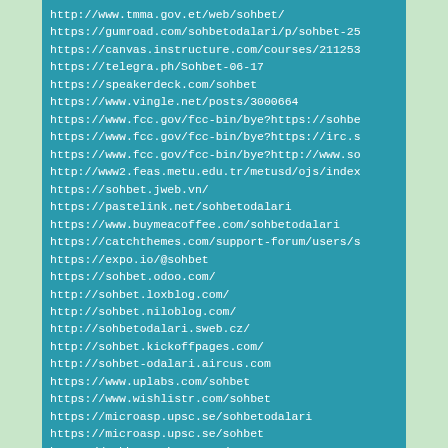http://www.tmma.gov.et/web/sohbet/
https://gumroad.com/sohbetodalari/p/sohbet-25
https://canvas.instructure.com/courses/211253
https://telegra.ph/Sohbet-06-17
https://speakerdeck.com/sohbet
https://www.vingle.net/posts/3000664
https://www.fcc.gov/fcc-bin/bye?https://sohbe
https://www.fcc.gov/fcc-bin/bye?https://irc.s
https://www.fcc.gov/fcc-bin/bye?http://www.so
http://www2.feas.metu.edu.tr/metusd/ojs/index
https://sohbet.jweb.vn/
https://pastelink.net/sohbetodalari
https://www.buymeacoffee.com/sohbetodalari
https://catchthemes.com/support-forum/users/s
https://expo.io/@sohbet
https://sohbet.odoo.com/
http://sohbet.loxblog.com/
http://sohbet.niloblog.com/
http://sohbetodalari.sweb.cz/
http://sohbet.kickoffpages.com/
http://sohbet-odalari.aircus.com
https://www.uplabs.com/sohbet
https://www.wishlistr.com/sohbet
https://microasp.upsc.se/sohbetodalari
https://microasp.upsc.se/sohbet
https://sohbet.tebyan.net/
http://varcareguaari.an.gov.in/web/sohbet